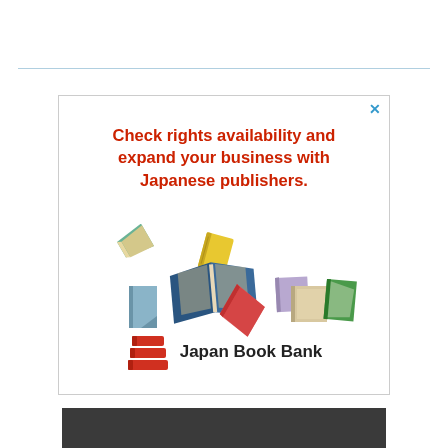[Figure (illustration): Advertisement for Japan Book Bank. Red bold headline: 'Check rights availability and expand your business with Japanese publishers.' Below the headline, illustrated colorful flying/open books in various colors (green, yellow, blue, pink, lavender, tan, green). At the bottom, the Japan Book Bank logo (red stacked books icon) with text 'Japan Book Bank'. A small blue X close button in the top-right corner. The ad has a light grey border.]
[Figure (other): Dark grey/charcoal bar at the bottom of the page, partially visible.]